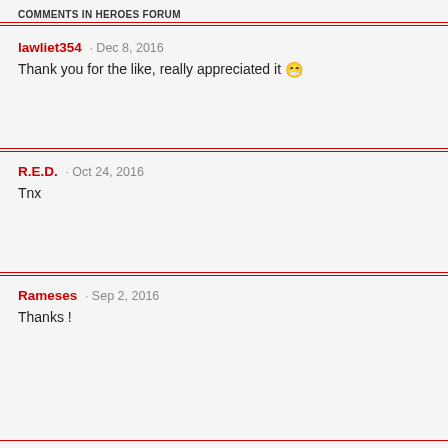COMMENTS IN HEROES FORUM
lawliet354 · Dec 8, 2016
Thank you for the like, really appreciated it 😁
R.E.D. · Oct 24, 2016
Tnx
Rameses · Sep 2, 2016
Thanks !